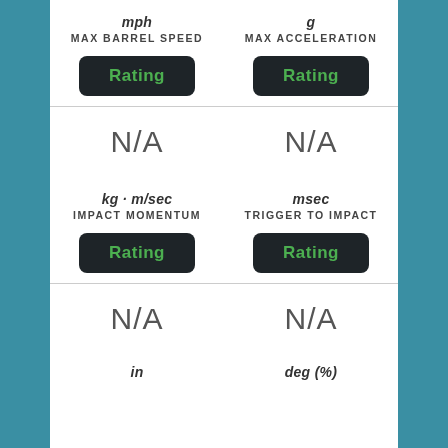mph
MAX BARREL SPEED
g
MAX ACCELERATION
[Figure (other): Rating button (dark background, green text)]
[Figure (other): Rating button (dark background, green text)]
N/A
N/A
kg · m/sec
IMPACT MOMENTUM
msec
TRIGGER TO IMPACT
[Figure (other): Rating button (dark background, green text)]
[Figure (other): Rating button (dark background, green text)]
N/A
N/A
in
deg (%)